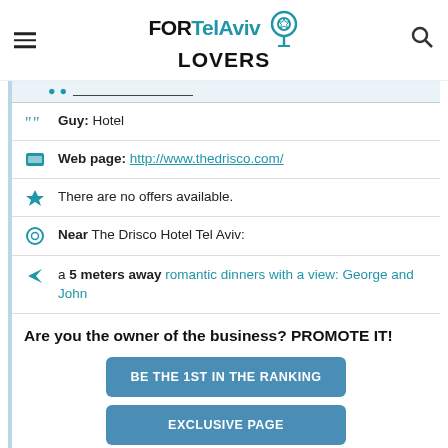FORTelAviv LOVERS
Guy: Hotel
Web page: http://www.thedrisco.com/
There are no offers available.
Near The Drisco Hotel Tel Aviv:
a 5 meters away romantic dinners with a view: George and John
Are you the owner of the business? PROMOTE IT!
BE THE 1ST IN THE RANKING
EXCLUSIVE PAGE